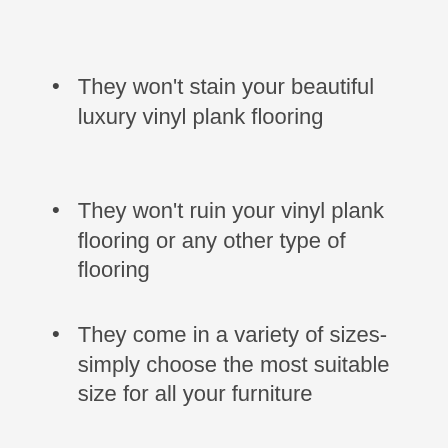They won't stain your beautiful luxury vinyl plank flooring
They won't ruin your vinyl plank flooring or any other type of flooring
They come in a variety of sizes- simply choose the most suitable size for all your furniture